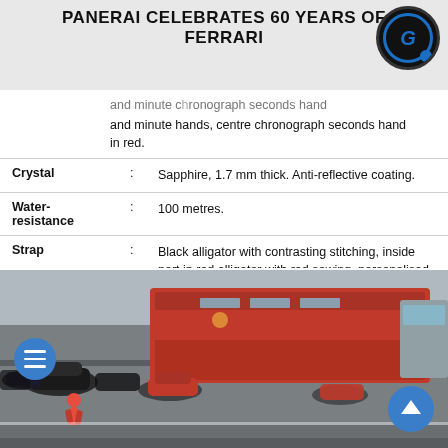PANERAI CELEBRATES 60 YEARS OF FERRARI
|  | : | ... and minute chronograph seconds hand in red. |
| Crystal | : | Sapphire, 1.7 mm thick. Anti-reflective coating. |
| Water-resistance | : | 100 metres. |
| Strap | : | Black alligator with contrasting stitching, inside part in red alligator with red sewing, personalised folding buckle in brushed steel with the edge of the closure in polished steel. |
| Reference | : | FER00018 |
[Figure (photo): Ferrari pit lane scene with vintage and modern cars, red Ferrari transport trucks and team personnel on a racing circuit]